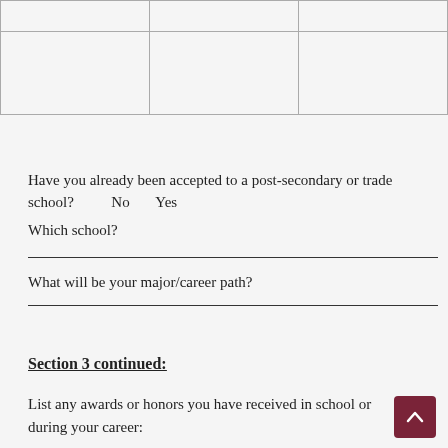|  |  |  |
|  |  |  |
Have you already been accepted to a post-secondary or trade school?          No          Yes
Which school?
What will be your major/career path?
Section 3 continued:
List any awards or honors you have received in school or during your career: